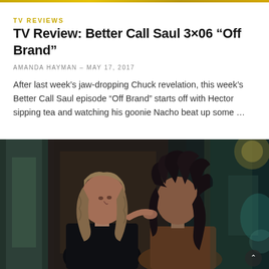TV REVIEWS
TV Review: Better Call Saul 3×06 “Off Brand”
AMANDA HAYMAN – MAY 17, 2017
After last week’s jaw-dropping Chuck revelation, this week’s Better Call Saul episode “Off Brand” starts off with Hector sipping tea and watching his goonie Nacho beat up some …
[Figure (photo): Two women facing each other closely in a dimly lit outdoor setting with blurred background of windows and lights. One has wavy blonde hair wearing dark jacket, the other has curly dark hair wearing a brown top.]